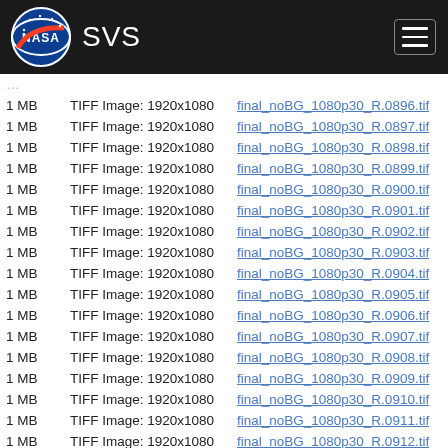[Figure (logo): NASA SVS website header with NASA logo and SVS text on dark background with hamburger menu icon]
| 1 MB | TIFF Image: 1920x1080 | final_noBG_1080p30_R.0896.tif |
| 1 MB | TIFF Image: 1920x1080 | final_noBG_1080p30_R.0897.tif |
| 1 MB | TIFF Image: 1920x1080 | final_noBG_1080p30_R.0898.tif |
| 1 MB | TIFF Image: 1920x1080 | final_noBG_1080p30_R.0899.tif |
| 1 MB | TIFF Image: 1920x1080 | final_noBG_1080p30_R.0900.tif |
| 1 MB | TIFF Image: 1920x1080 | final_noBG_1080p30_R.0901.tif |
| 1 MB | TIFF Image: 1920x1080 | final_noBG_1080p30_R.0902.tif |
| 1 MB | TIFF Image: 1920x1080 | final_noBG_1080p30_R.0903.tif |
| 1 MB | TIFF Image: 1920x1080 | final_noBG_1080p30_R.0904.tif |
| 1 MB | TIFF Image: 1920x1080 | final_noBG_1080p30_R.0905.tif |
| 1 MB | TIFF Image: 1920x1080 | final_noBG_1080p30_R.0906.tif |
| 1 MB | TIFF Image: 1920x1080 | final_noBG_1080p30_R.0907.tif |
| 1 MB | TIFF Image: 1920x1080 | final_noBG_1080p30_R.0908.tif |
| 1 MB | TIFF Image: 1920x1080 | final_noBG_1080p30_R.0909.tif |
| 1 MB | TIFF Image: 1920x1080 | final_noBG_1080p30_R.0910.tif |
| 1 MB | TIFF Image: 1920x1080 | final_noBG_1080p30_R.0911.tif |
| 1 MB | TIFF Image: 1920x1080 | final_noBG_1080p30_R.0912.tif |
| 1 MB | TIFF Image: 1920x1080 | final_noBG_1080p30_R.0913.tif |
| 1 MB | TIFF Image: 1920x1080 | final_noBG_1080p30_R.0914.tif |